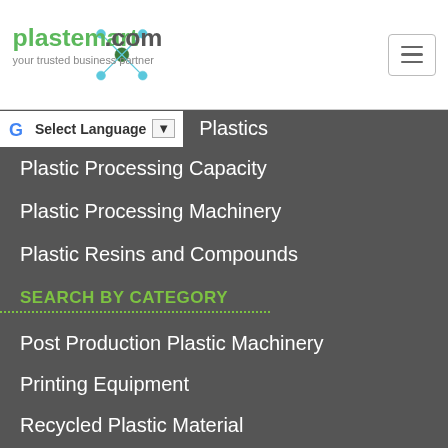[Figure (logo): Plastemart.com logo with network node graphic and tagline 'your trusted business partner']
plastemart.com - your trusted business partner
Plastics
Plastic Processing Capacity
Plastic Processing Machinery
Plastic Resins and Compounds
SEARCH BY CATEGORY
Post Production Plastic Machinery
Printing Equipment
Recycled Plastic Material
Semi and Finished Plastic Products
Spare Parts and Components
Stock Clearance
Testing Equipment
Used Plastic Machin...